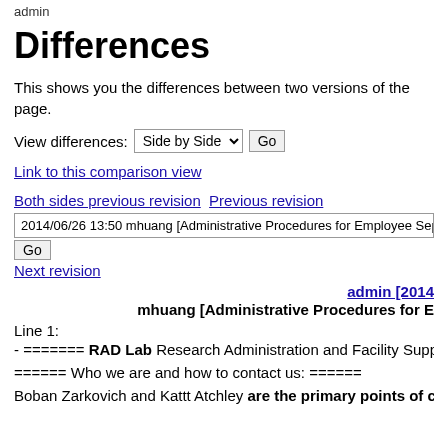admin
Differences
This shows you the differences between two versions of the page.
View differences: Side by Side ▾  Go
Link to this comparison view
Both sides previous revision   Previous revision
2014/06/26 13:50 mhuang [Administrative Procedures for Employee Sepa
Go
Next revision
admin [2014...
mhuang [Administrative Procedures for E
Line 1:
- ======= RAD Lab Research Administration and Facility Support
====== Who we are and how to contact us: ======
Boban Zarkovich and Kattt Atchley are the primary points of com